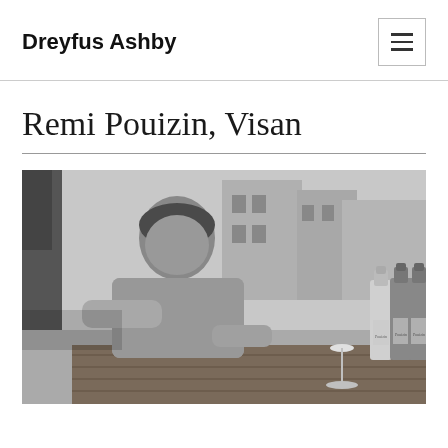Dreyfus Ashby
Remi Pouizin, Visan
[Figure (photo): Black and white photograph of a man (Remi Pouizin) seated outdoors at a wooden table with wine bottles arranged in front of him and buildings visible in the background.]